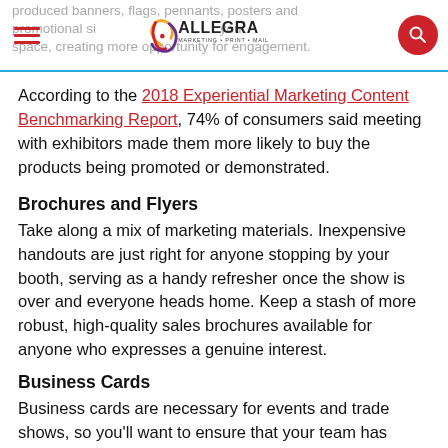Allegra Marketing Print Mail — site header with hamburger menu, logo, and search button
produced banners, flags, pennants, posters and promotional signage throughout your space, creating more opportunity for engagement.
According to the 2018 Experiential Marketing Content Benchmarking Report, 74% of consumers said meeting with exhibitors made them more likely to buy the products being promoted or demonstrated.
Brochures and Flyers
Take along a mix of marketing materials. Inexpensive handouts are just right for anyone stopping by your booth, serving as a handy refresher once the show is over and everyone heads home. Keep a stash of more robust, high-quality sales brochures available for anyone who expresses a genuine interest.
Business Cards
Business cards are necessary for events and trade shows, so you'll want to ensure that your team has plenty to hand out. Are they up-to-date? Visually appealing? Readable? Think about sprucing up your